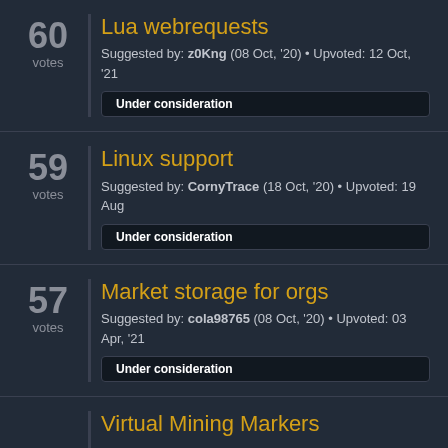Lua webrequests — 60 votes — Suggested by: z0Kng (08 Oct, '20) • Upvoted: 12 Oct, '21 — Under consideration
Linux support — 59 votes — Suggested by: CornyTrace (18 Oct, '20) • Upvoted: 19 Aug — Under consideration
Market storage for orgs — 57 votes — Suggested by: cola98765 (08 Oct, '20) • Upvoted: 03 Apr, '21 — Under consideration
Virtual Mining Markers